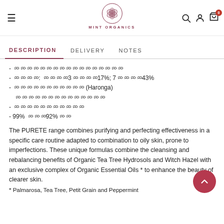MINT ORGANICS — navigation bar with hamburger menu, logo, search, account, and cart icons
DESCRIPTION | DELIVERY | NOTES
- ꩡꩡꩡꩡꩡꩡꩡꩡꩡꩡꩡꩡꩡꩡꩡꩡꩡ
- ꩡꩡꩡꩡ: ꩡꩡꩡꩡ3ꩡꩡꩡꩡ17%; 7ꩡꩡꩡꩡ43%
- ꩡꩡꩡꩡꩡꩡꩡꩡꩡꩡꩡ (Haronga) ꩡꩡꩡꩡꩡꩡꩡꩡꩡꩡꩡꩡꩡꩡ
- ꩡꩡꩡꩡꩡꩡꩡꩡꩡꩡꩡ
- 99% ꩡꩡꩡ92%ꩡꩡ
The PURETE range combines purifying and perfecting effectiveness in a specific care routine adapted to combination to oily skin, prone to imperfections. These unique formulas combine the cleansing and rebalancing benefits of Organic Tea Tree Hydrosols and Witch Hazel with an exclusive complex of Organic Essential Oils * to enhance the beauty of clearer skin.
* Palmarosa, Tea Tree, Petit Grain and Peppermint